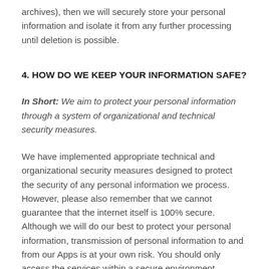archives), then we will securely store your personal information and isolate it from any further processing until deletion is possible.
4. HOW DO WE KEEP YOUR INFORMATION SAFE?
In Short: We aim to protect your personal information through a system of organizational and technical security measures.
We have implemented appropriate technical and organizational security measures designed to protect the security of any personal information we process. However, please also remember that we cannot guarantee that the internet itself is 100% secure. Although we will do our best to protect your personal information, transmission of personal information to and from our Apps is at your own risk. You should only access the services within a secure environment.